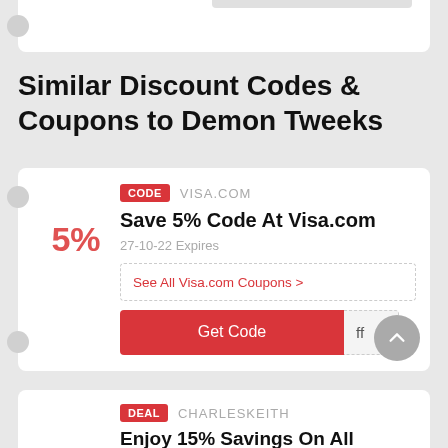Similar Discount Codes & Coupons to Demon Tweeks
CODE  VISA.COM
Save 5% Code At Visa.com
27-10-22 Expires
See All Visa.com Coupons >
Get Code  ff
5%
DEAL  CHARLESKEITH
Enjoy 15% Savings On All